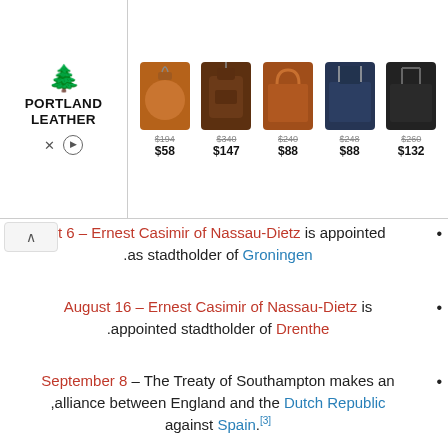[Figure (other): Portland Leather advertisement banner showing logo and 5 leather bag products with prices: $194→$58, $340→$147, $240→$88, $248→$88, $260→$132]
August 6 – Ernest Casimir of Nassau-Dietz is appointed as stadtholder of Groningen.
August 16 – Ernest Casimir of Nassau-Dietz is appointed stadtholder of Drenthe.
September 8 – The Treaty of Southampton makes an alliance between England and the Dutch Republic,[3] against Spain.
September 13 – A total of 16 rabbis (including Isaiah Horowitz) are imprisoned in Jerusalem.
September 15 – After several skirmishes in the preceding days, troops under the Marquis of Toiras successfully recapture the island of Ré, forcing the Duke